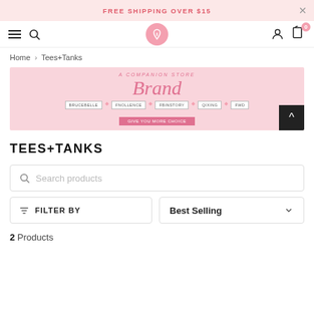FREE SHIPPING OVER $15
[Figure (screenshot): Navigation bar with hamburger menu, search icon, pink circular logo, user icon, and cart icon with badge showing 0]
Home > Tees+Tanks
[Figure (illustration): Pink promotional banner with cursive 'Brand' text and brand names: BRUCEBELLE, FNOLLENCE, FBINSTORY, QIXING, FWD with a pink CTA button]
TEES+TANKS
Search products
FILTER BY
Best Selling
2 Products